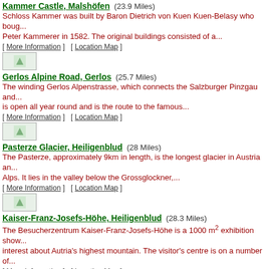Kammer Castle, Malshöfen (23.9 Miles) - Schloss Kammer was built by Baron Dietrich von Kuen Kuen-Belasy who bought it from Peter Kammerer in 1582. The original buildings consisted of a... [ More Information ] [ Location Map ]
Gerlos Alpine Road, Gerlos (25.7 Miles) - The winding Gerlos Alpenstrasse, which connects the Salzburger Pinzgau and... is open all year round and is the route to the famous... [ More Information ] [ Location Map ]
Pasterze Glacier, Heiligenblud (28 Miles) - The Pasterze, approximately 9km in length, is the longest glacier in Austria an... Alps. It lies in the valley below the Grossglockner,... [ More Information ] [ Location Map ]
Kaiser-Franz-Josefs-Höhe, Heiligenblud (28.3 Miles) - The Besucherzentrum Kaiser-Franz-Josefs-Höhe is a 1000 m² exhibition show... interest about Autria's highest mountain. The visitor's centre is on a number of... [ More Information ] [ Location Map ]
Klammstein Castle Ruins, Dorfgastein (31.2 Miles) - Burg Klammstein is the oldest historic building in the Gastein valley. The castle... mentioned in the 13th century although certainly on the... [ More Information ] [ Location Map ]
"Hidden Church" Natural Cave, Dorfgastein (34.1 Miles) - The Entrische Kirche is the largest natural cave system in the Salzburg Alps...